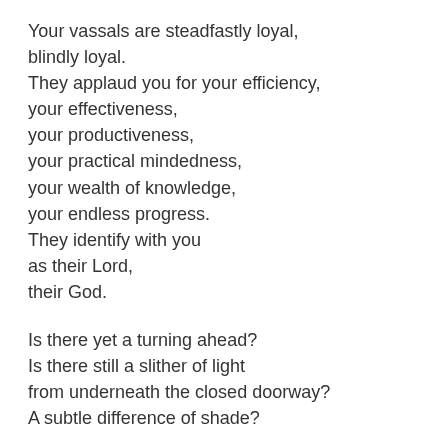Your vassals are steadfastly loyal,
blindly loyal.
They applaud you for your efficiency,
your effectiveness,
your productiveness,
your practical mindedness,
your wealth of knowledge,
your endless progress.
They identify with you
as their Lord,
their God.
Is there yet a turning ahead?
Is there still a slither of light
from underneath the closed doorway?
A subtle difference of shade?
Who sees it?
Are they the wayward ones?
Wrongheadedly,
perversely,